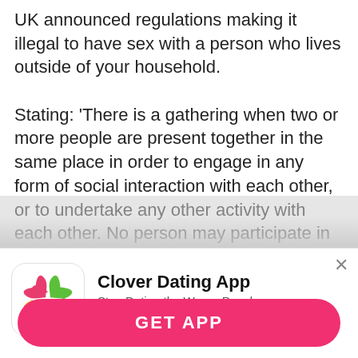UK announced regulations making it illegal to have sex with a person who lives outside of your household.

Stating: ‘There is a gathering when two or more people are present together in the same place in order to engage in any form of social interaction with each other, or to undertake any other activity with each other. No person may participate in a gathering which takes place in a public or private place outdoors, and consists of more than six
[Figure (infographic): Clover Dating App advertisement banner with app icon (colorful four-leaf clover made of hearts), title 'Clover Dating App', subtitle 'Stop Dating the Wrong People', 4.5 star rating with 129K reviews, and a pink 'GET APP' button. Close (x) button in top right corner.]